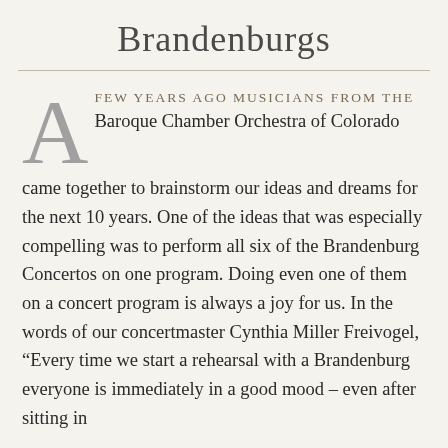Brandenburgs
A FEW YEARS AGO MUSICIANS FROM THE Baroque Chamber Orchestra of Colorado came together to brainstorm our ideas and dreams for the next 10 years. One of the ideas that was especially compelling was to perform all six of the Brandenburg Concertos on one program. Doing even one of them on a concert program is always a joy for us. In the words of our concertmaster Cynthia Miller Freivogel, “Every time we start a rehearsal with a Brandenburg everyone is immediately in a good mood – even after sitting in